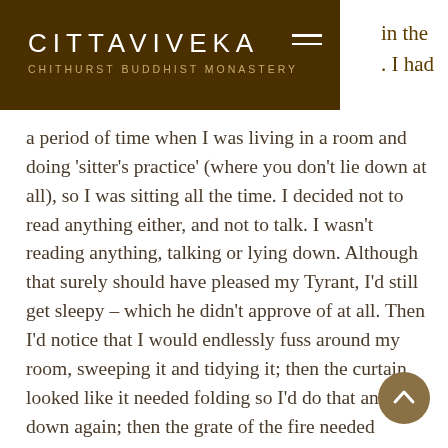CITTAVIVEKA — CHITHURST BUDDHIST MONASTERY
in the . I had a period of time when I was living in a room and doing 'sitter's practice' (where you don't lie down at all), so I was sitting all the time. I decided not to read anything either, and not to talk. I wasn't reading anything, talking or lying down. Although that surely should have pleased my Tyrant, I'd still get sleepy – which he didn't approve of at all. Then I'd notice that I would endlessly fuss around my room, sweeping it and tidying it; then the curtain looked like it needed folding so I'd do that and sit down again; then the grate of the fire needed sweeping...and so on. So I determined to spend a week of not